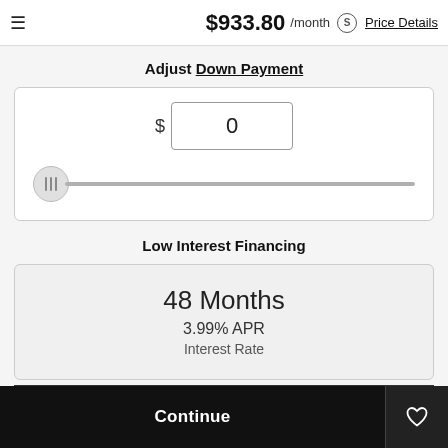$933.80 /month  Price Details
Adjust Down Payment
[Figure (infographic): Down payment input box showing $ 0 with a slider control set to the leftmost position]
Low Interest Financing
[Figure (infographic): Financing card showing 48 Months, 3.99% APR, Interest Rate]
Continue